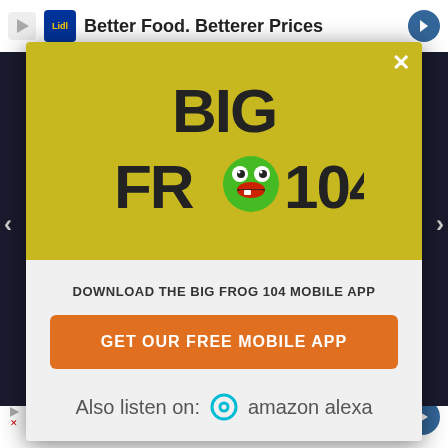[Figure (screenshot): Screenshot of a website with a modal popup for Big Frog 104 radio station app download. Background shows a dark webpage with advertisement banners at top and bottom. The modal has a yellow section with the Big Frog 104 logo (stylized frog mascot), and a white/gray section below with download CTA and Amazon Alexa integration.]
Better Food. Betterer Prices
BIG FROG 104
DOWNLOAD THE BIG FROG 104 MOBILE APP
GET OUR FREE MOBILE APP
Also listen on: amazon alexa
In-store shopping
Curbside pickup  Delivery